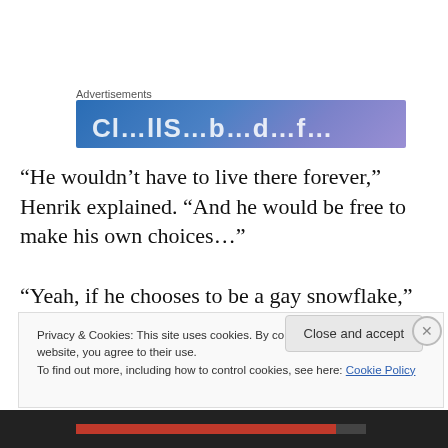Advertisements
[Figure (other): Blue-to-purple gradient advertisement banner with partial white text visible at bottom]
“He wouldn’t have to live there forever,”  Henrik explained. “And he would be free to make his own choices…”
“Yeah, if he chooses to be a gay snowflake,”  the woman shot back. “Look, his teacher wanted him to perform for you today, so I let him perform.  But I’m not letting you take
Privacy & Cookies: This site uses cookies. By continuing to use this website, you agree to their use.
To find out more, including how to control cookies, see here: Cookie Policy
Close and accept